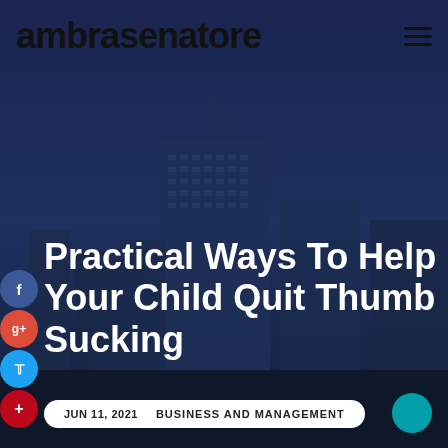ambrasenatore
[Figure (illustration): City skyline with tall buildings against a dark blue twilight sky, used as a hero background image]
Practical Ways To Help Your Child Quit Thumb Sucking
JUN 11, 2021   BUSINESS AND MANAGEMENT